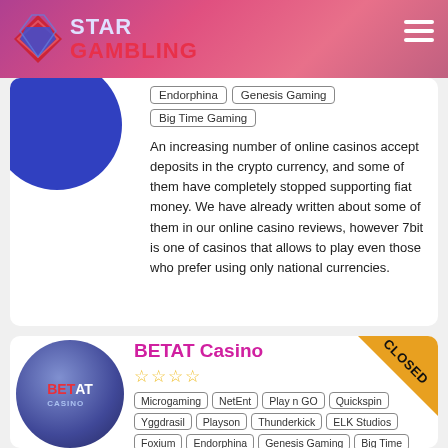Star Gambling
Endorphina | Genesis Gaming | Big Time Gaming
An increasing number of online casinos accept deposits in the crypto currency, and some of them have completely stopped supporting fiat money. We have already written about some of them in our online casino reviews, however 7bit is one of casinos that allows to play even those who prefer using only national currencies.
BETAT Casino
[Figure (other): BETAT Casino logo — circular dark blue badge with BET AT CASINO text]
Microgaming | NetEnt | Play n GO | Quickspin | Yggdrasil | Playson | Thunderkick | ELK Studios | Foxium | Endorphina | Genesis Gaming | Big Time